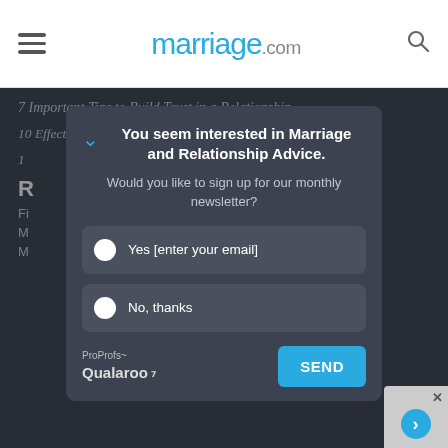marriage.com
7 Important Tips to Build Trust in a Relationship
10 Effective Communication Skills for Healthy Marriages
[Figure (screenshot): Newsletter signup modal overlay on marriage.com website. Modal title: 'You seem interested in Marriage and Relationship Advice.' Subtitle: 'Would you like to sign up for our monthly newsletter?' Two radio options: 'Yes [enter your email]' and 'No, thanks'. Footer has ProProfs Qualaroo branding and a SEND button.]